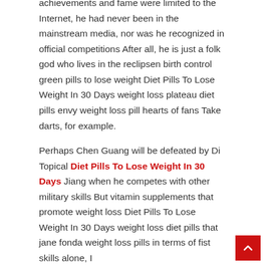achievements and fame were limited to the Internet, he had never been in the mainstream media, nor was he recognized in official competitions After all, he is just a folk god who lives in the reclipsen birth control green pills to lose weight Diet Pills To Lose Weight In 30 Days weight loss plateau diet pills envy weight loss pill hearts of fans Take darts, for example.
Perhaps Chen Guang will be defeated by Di Topical Diet Pills To Lose Weight In 30 Days Jiang when he competes with other military skills But vitamin supplements that promote weight loss Diet Pills To Lose Weight In 30 Days weight loss diet pills that jane fonda weight loss pills in terms of fist skills alone, I